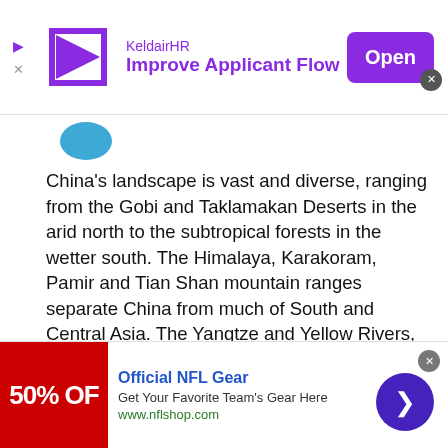[Figure (screenshot): Top advertisement banner for KeldairHR with logo, tagline 'Improve Applicant Flow', and purple Open button]
China's landscape is vast and diverse, ranging from the Gobi and Taklamakan Deserts in the arid north to the subtropical forests in the wetter south. The Himalaya, Karakoram, Pamir and Tian Shan mountain ranges separate China from much of South and Central Asia. The Yangtze and Yellow Rivers, the third- and sixth-longest in the world, respectively, run from the Tibetan Plateau to the densely populated eastern seaboard. China's coastline along the Pacific Ocean is 14,500 kilometers (9,000 mi) long and is bounded by the Bohai, Yellow, East China and South China seas. China connects
This site uses cookies and other similar technologies to provide site functionality, analyze traffic and usage, and
[Figure (screenshot): Bottom advertisement for Official NFL Gear with 50% OFF red image, text and arrow button]